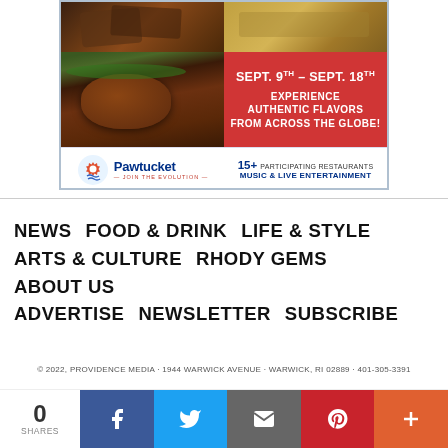[Figure (advertisement): Pawtucket food festival ad: Sept. 9th – Sept. 18th, Experience Authentic Flavors From Across The Globe! 15+ Participating Restaurants, Music & Live Entertainment. Pawtucket – Join The Evolution logo.]
NEWS   FOOD & DRINK   LIFE & STYLE   ARTS & CULTURE   RHODY GEMS   ABOUT US   ADVERTISE   NEWSLETTER   SUBSCRIBE
© 2022, PROVIDENCE MEDIA · 1944 WARWICK AVENUE · WARWICK, RI 02889 · 401-305-3391
POWERED BY CREATIVE CIRCLE MEDIA SOLUTIONS
0 SHARES